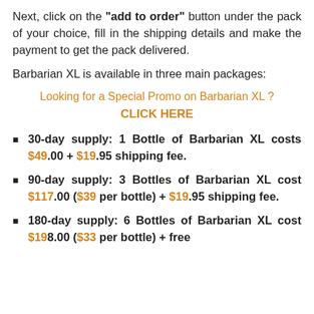Next, click on the "add to order" button under the pack of your choice, fill in the shipping details and make the payment to get the pack delivered.
Barbarian XL is available in three main packages:
Looking for a Special Promo on Barbarian XL ? CLICK HERE
30-day supply: 1 Bottle of Barbarian XL costs $49.00 + $19.95 shipping fee.
90-day supply: 3 Bottles of Barbarian XL cost $117.00 ($39 per bottle) + $19.95 shipping fee.
180-day supply: 6 Bottles of Barbarian XL cost $198.00 ($33 per bottle) + free